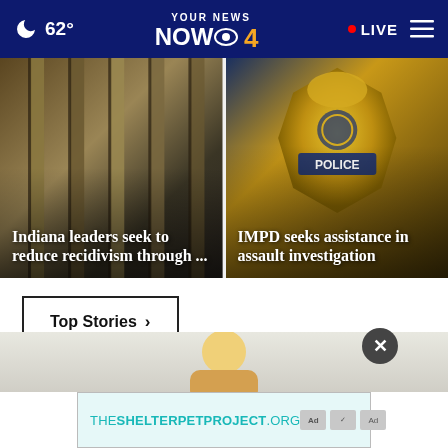🌙 62° | YOUR NEWS NOW CBS 4 | LIVE
[Figure (photo): Jail bars background photo with headline overlay: Indiana leaders seek to reduce recidivism through ...]
[Figure (photo): Police badge close-up photo with headline overlay: IMPD seeks assistance in assault investigation]
Top Stories ›
[Figure (photo): Partial view of a person at the bottom of the screen]
[Figure (other): Ad banner: THESHELTERPETPROJECT.ORG with ad choice icons]